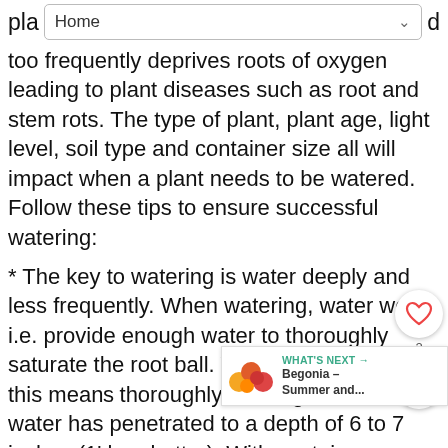pla  Home  d
too frequently deprives roots of oxygen leading to plant diseases such as root and stem rots. The type of plant, plant age, light level, soil type and container size all will impact when a plant needs to be watered. Follow these tips to ensure successful watering:
* The key to watering is water deeply and less frequently. When watering, water well, i.e. provide enough water to thoroughly saturate the root ball. With in-ground plants, this means thoroughly soaking the soil until water has penetrated to a depth of 6 to 7 inches (1' being better). With container grown plants, enough water to allow water to flow through the drainage holes.